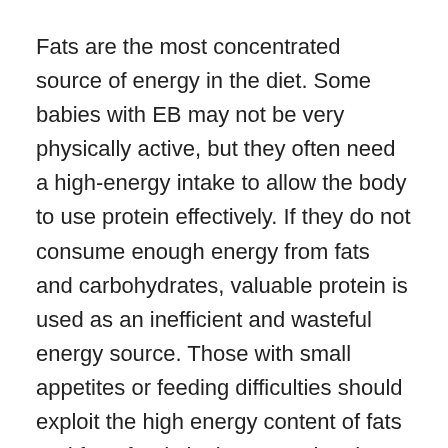Fats are the most concentrated source of energy in the diet. Some babies with EB may not be very physically active, but they often need a high-energy intake to allow the body to use protein effectively. If they do not consume enough energy from fats and carbohydrates, valuable protein is used as an inefficient and wasteful energy source. Those with small appetites or feeding difficulties should exploit the high energy content of fats and fatty foods by incorporating them frequently into the diet.
Butter, margarine, cream, oil, lard, suet and dripping are obvious sources of fat. Hidden sources are full cream milk, full fat yogurt, most types of full fat cheese (including fromage